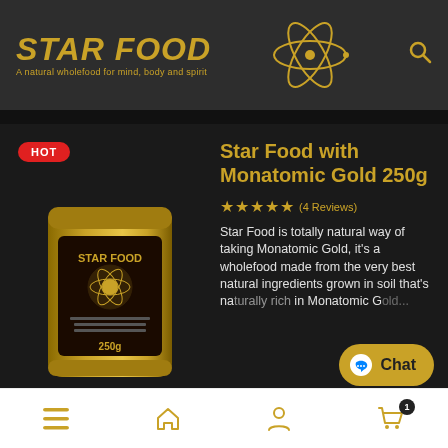STAR FOOD - A natural wholefood for mind, body and spirit
Star Food with Monatomic Gold 250g
★★★★★ (4 Reviews)
Star Food is totally natural way of taking Monatomic Gold, it's a wholefood made from the very best natural ingredients grown in soil that's naturally rich in Monatomic G...
[Figure (photo): Gold foil pouch of Star Food with Monatomic Gold 250g product packaging on dark background]
Navigation bar with menu, home, profile, and cart (1 item) icons